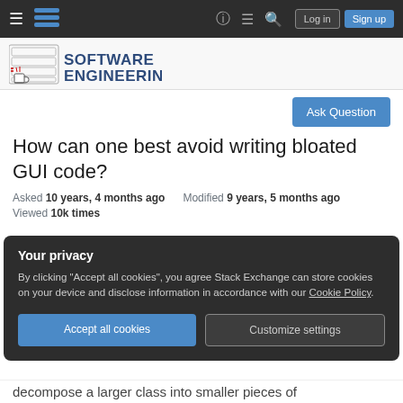Software Engineering Stack Exchange — Navigation bar with Log in and Sign up buttons
[Figure (logo): Software Engineering Stack Exchange site logo with illustrated server/computer graphic and stylized hand-drawn text 'SOFTWARE ENGINEERING']
Ask Question
How can one best avoid writing bloated GUI code?
Asked 10 years, 4 months ago   Modified 9 years, 5 months ago
Viewed 10k times
Your privacy
By clicking "Accept all cookies", you agree Stack Exchange can store cookies on your device and disclose information in accordance with our Cookie Policy.
Accept all cookies   Customize settings
decompose a larger class into smaller pieces of